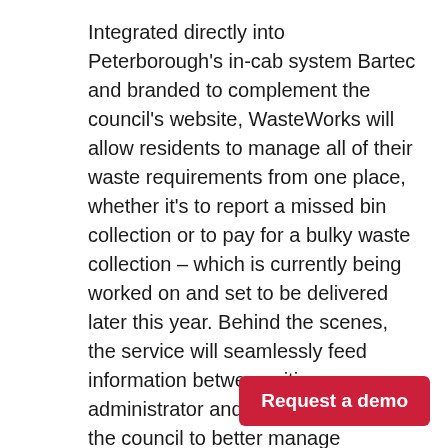Integrated directly into Peterborough's in-cab system Bartec and branded to complement the council's website, WasteWorks will allow residents to manage all of their waste requirements from one place, whether it's to report a missed bin collection or to pay for a bulky waste collection – which is currently being worked on and set to be delivered later this year. Behind the scenes, the service will seamlessly feed information between citizen, administrator and inspector, helping the council to better manage expectations and close the feedback loop through automated notifications and intelligent tools for on-the-ground inspectors.
This is the second SocietyWorks service to have been adopted by Peterborough C[ity Council, which] has been successfully using FixMyStreet Pro to